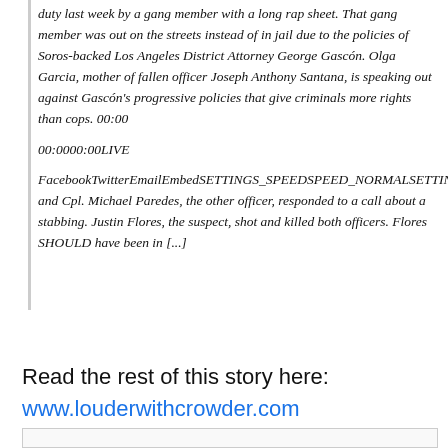duty last week by a gang member with a long rap sheet. That gang member was out on the streets instead of in jail due to the policies of Soros-backed Los Angeles District Attorney George Gascón. Olga Garcia, mother of fallen officer Joseph Anthony Santana, is speaking out against Gascón's progressive policies that give criminals more rights than cops. 00:00
00:0000:00LIVE
FacebookTwitterEmailEmbedSETTINGS_SPEEDSPEED_NORMALSETTINGS_AUTOPLAYSantana and Cpl. Michael Paredes, the other officer, responded to a call about a stabbing. Justin Flores, the suspect, shot and killed both officers. Flores SHOULD have been in [...]
Read the rest of this story here:
www.louderwithcrowder.com